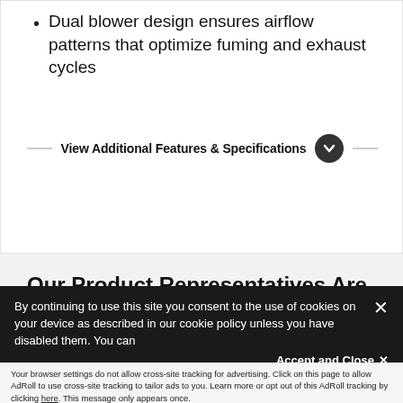Dual blower design ensures airflow patterns that optimize fuming and exhaust cycles
View Additional Features & Specifications
Our Product Representatives Are Here To Help
By continuing to use this site you consent to the use of cookies on your device as described in our cookie policy unless you have disabled them. You can
Accept and Close ×
Your browser settings do not allow cross-site tracking for advertising. Click on this page to allow AdRoll to use cross-site tracking to tailor ads to you. Learn more or opt out of this AdRoll tracking by clicking here. This message only appears once.